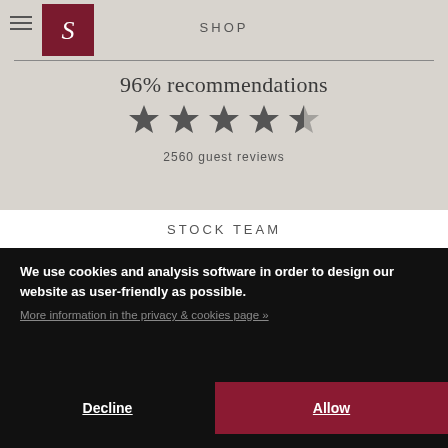SHOP
[Figure (logo): S logo in white on dark red square background]
96% recommendations
[Figure (infographic): 4.5 stars rating display (5 stars, last one half-filled)]
2560 guest reviews
STOCK TEAM
We use cookies and analysis software in order to design our website as user-friendly as possible.
More information in the privacy & cookies page »
Decline
Allow